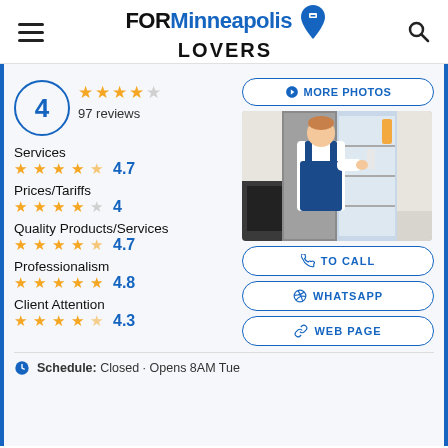FOR Minneapolis LOVERS
[Figure (screenshot): Business listing page showing rating of 4 out of 5 stars with 97 reviews, category ratings for Services (4.7), Prices/Tariffs (4), Quality Products/Services (4.7), Professionalism (4.8), Client Attention (4.3), a photo of a technician working on a refrigerator, and action buttons for More Photos, To Call, WhatsApp, Web Page, and schedule information.]
4 · 97 reviews
Services 4.7
Prices/Tariffs 4
Quality Products/Services 4.7
Professionalism 4.8
Client Attention 4.3
Schedule: Closed · Opens 8AM Tue